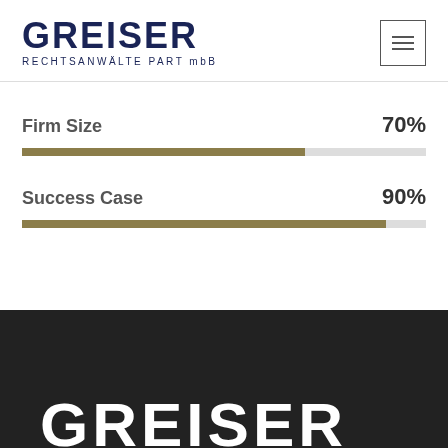[Figure (logo): GREISER RECHTSANWÄLTE PART mbB law firm logo in dark navy blue]
[Figure (bar-chart): Firm Size]
[Figure (bar-chart): Success Case]
GREISER